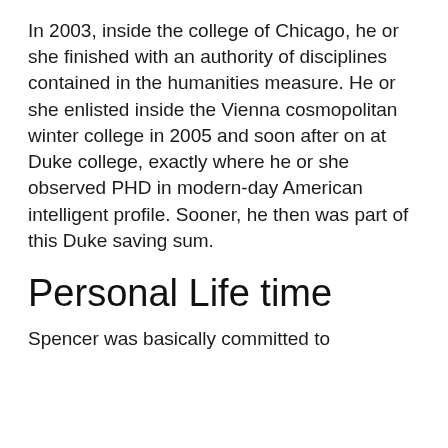In 2003, inside the college of Chicago, he or she finished with an authority of disciplines contained in the humanities measure. He or she enlisted inside the Vienna cosmopolitan winter college in 2005 and soon after on at Duke college, exactly where he or she observed PHD in modern-day American intelligent profile. Sooner, he then was part of this Duke saving sum.
Personal Life time
Spencer was basically committed to